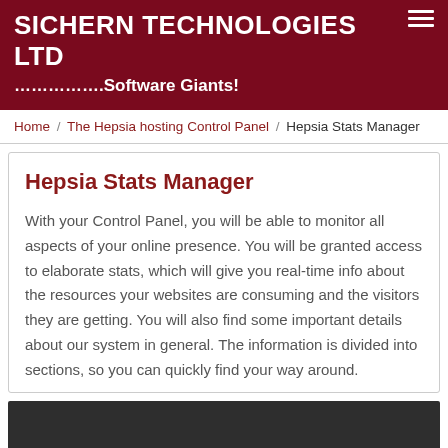SICHERN TECHNOLOGIES LTD
…………….Software Giants!
Home / The Hepsia hosting Control Panel / Hepsia Stats Manager
Hepsia Stats Manager
With your Control Panel, you will be able to monitor all aspects of your online presence. You will be granted access to elaborate stats, which will give you real-time info about the resources your websites are consuming and the visitors they are getting. You will also find some important details about our system in general. The information is divided into sections, so you can quickly find your way around.
[Figure (screenshot): Dark screenshot area at the bottom of the page]